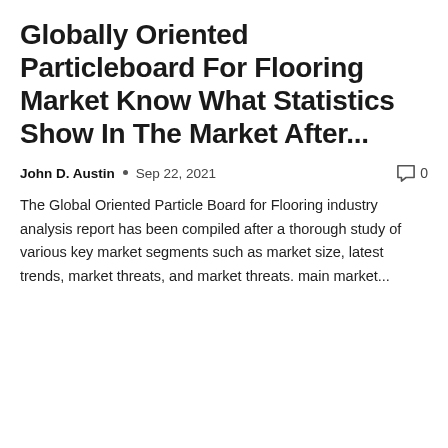Globally Oriented Particleboard For Flooring Market Know What Statistics Show In The Market After...
John D. Austin  •  Sep 22, 2021   🗨 0
The Global Oriented Particle Board for Flooring industry analysis report has been compiled after a thorough study of various key market segments such as market size, latest trends, market threats, and market threats. main market...